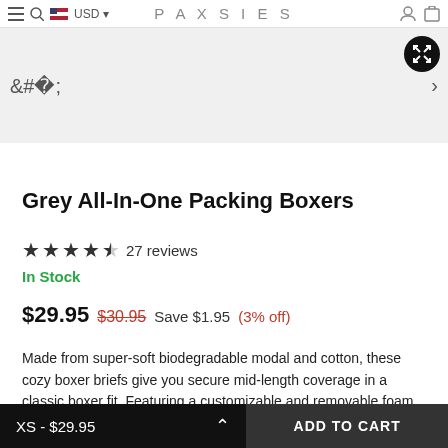PAXSIES
[Figure (screenshot): Product image area with expand button (grey background)]
Grey All-In-One Packing Boxers
★★★★½ 27 reviews
In Stock
$29.95  $30.95  Save $1.95 (3% off)
Made from super-soft biodegradable modal and cotton, these cozy boxer briefs give you secure mid-length coverage in a classic boxer fit. Featuring a customizable and removable foam packer situated inside the fabric pouch of the boxers, a natural-looking bulge is...
XS - $29.95   ADD TO CART